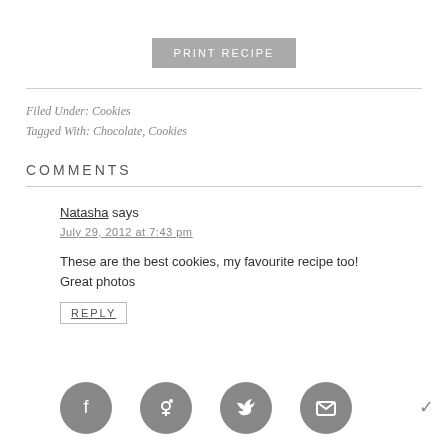PRINT RECIPE
Filed Under: Cookies
Tagged With: Chocolate, Cookies
COMMENTS
Natasha says
July 29, 2012 at 7:43 pm
These are the best cookies, my favourite recipe too! Great photos
REPLY